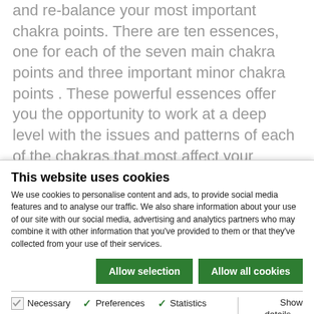and re-balance your most important chakra points. There are ten essences, one for each of the seven main chakra points and three important minor chakra points . These powerful essences offer you the opportunity to work at a deep level with the issues and patterns of each of the chakras that most affect your mental and emotional well-being
This website uses cookies
We use cookies to personalise content and ads, to provide social media features and to analyse our traffic. We also share information about your use of our site with our social media, advertising and analytics partners who may combine it with other information that you've provided to them or that they've collected from your use of their services.
Allow selection | Allow all cookies | Necessary | Preferences | Statistics | Marketing | Show details